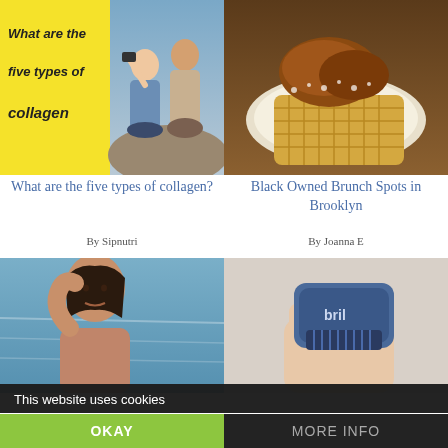[Figure (photo): Yellow banner with text 'What are the five types of collagen' on left side, two young women taking a selfie outdoors on right side]
[Figure (photo): Plate of waffles with fried chicken and powdered sugar toppings, food photo]
What are the five types of collagen?
Black Owned Brunch Spots in Brooklyn
By Sipnutri
By Joanna E
[Figure (photo): Woman with wet hair posing near water, beauty/lifestyle photo]
[Figure (photo): Hand holding a blue 'bril' device, product photo]
This website uses cookies
OKAY
MORE INFO